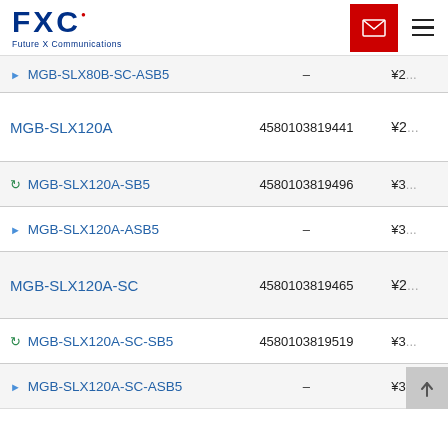FXC Future X Communications
| Product Name | Code | Price |
| --- | --- | --- |
| MGB-SLX80B-SC-ASB5 | – | ¥2... |
| MGB-SLX120A | 4580103819441 | ¥2... |
| MGB-SLX120A-SB5 | 4580103819496 | ¥3... |
| MGB-SLX120A-ASB5 | – | ¥3... |
| MGB-SLX120A-SC | 4580103819465 | ¥2... |
| MGB-SLX120A-SC-SB5 | 4580103819519 | ¥3... |
| MGB-SLX120A-SC-ASB5 | – | ¥3... |